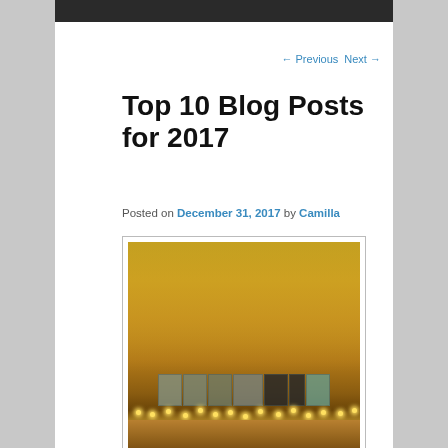← Previous   Next →
Top 10 Blog Posts for 2017
Posted on December 31, 2017 by Camilla
[Figure (photo): Photo of decorative block letters spelling TEAM TLC on a shelf with string lights, against a yellow/golden wall background. Letters are grey and dark colored with teal/mint colored C at end.]